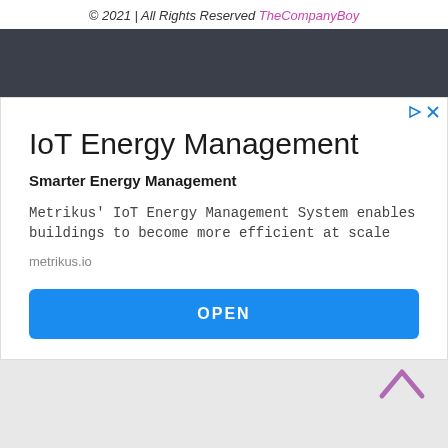© 2021 | All Rights Reserved TheCompanyBoy
[Figure (screenshot): Dark navigation bar area]
IoT Energy Management
Smarter Energy Management
Metrikus' IoT Energy Management System enables buildings to become more efficient at scale
metrikus.io
OPEN